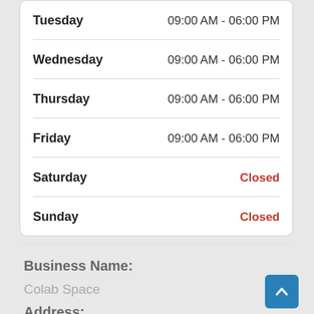| Day | Hours |
| --- | --- |
| Tuesday | 09:00 AM - 06:00 PM |
| Wednesday | 09:00 AM - 06:00 PM |
| Thursday | 09:00 AM - 06:00 PM |
| Friday | 09:00 AM - 06:00 PM |
| Saturday | Closed |
| Sunday | Closed |
Business Name:
Colab Space
Address: